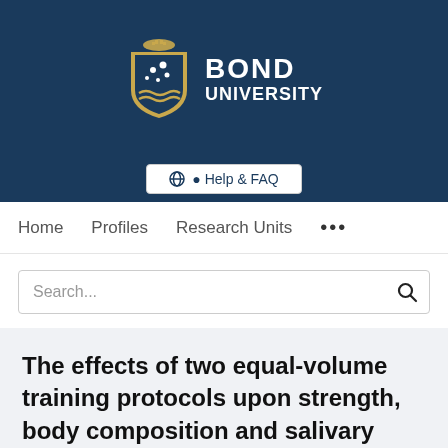[Figure (logo): Bond University logo — shield crest with stars and waves on dark navy background, with 'BOND UNIVERSITY' text in white]
Help & FAQ
Home   Profiles   Research Units   ...
Search...
The effects of two equal-volume training protocols upon strength, body composition and salivary hormones in male rugby union players